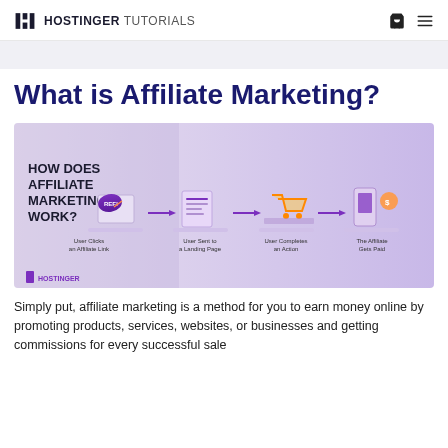HOSTINGER TUTORIALS
What is Affiliate Marketing?
[Figure (infographic): Infographic titled 'HOW DOES AFFILIATE MARKETING WORK?' showing four steps with illustrated icons: 1) User Clicks an Affiliate Link, 2) User Sent to a Landing Page, 3) User Completes an Action, 4) The Affiliate Gets Paid. Hostinger branded.]
Simply put, affiliate marketing is a method for you to earn money online by promoting products, services, websites, or businesses and getting commissions for every successful sale